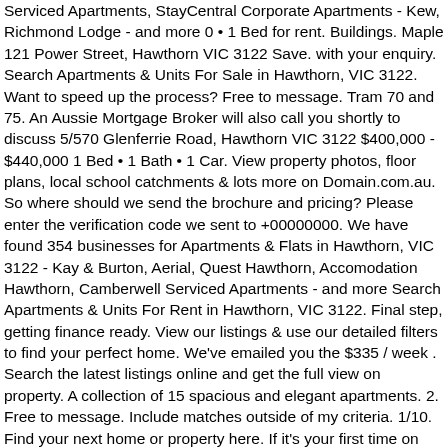Serviced Apartments, StayCentral Corporate Apartments - Kew, Richmond Lodge - and more 0 • 1 Bed for rent. Buildings. Maple 121 Power Street, Hawthorn VIC 3122 Save. with your enquiry. Search Apartments & Units For Sale in Hawthorn, VIC 3122. Want to speed up the process? Free to message. Tram 70 and 75. An Aussie Mortgage Broker will also call you shortly to discuss 5/570 Glenferrie Road, Hawthorn VIC 3122 $400,000 - $440,000 1 Bed • 1 Bath • 1 Car. View property photos, floor plans, local school catchments & lots more on Domain.com.au. So where should we send the brochure and pricing? Please enter the verification code we sent to +00000000. We have found 354 businesses for Apartments & Flats in Hawthorn, VIC 3122 - Kay & Burton, Aerial, Quest Hawthorn, Accomodation Hawthorn, Camberwell Serviced Apartments - and more Search Apartments & Units For Rent in Hawthorn, VIC 3122. Final step, getting finance ready. View our listings & use our detailed filters to find your perfect home. We've emailed you the $335 / week . Search the latest listings online and get the full view on property. A collection of 15 spacious and elegant apartments. 2. Free to message. Include matches outside of my criteria. 1/10. Find your next home or property here. If it's your first time on Urban, we will verify your number via SMS. Imperium Hawthorn - IMPRESSIVELY